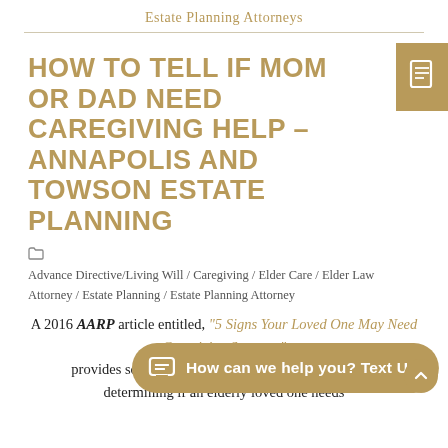Estate Planning Attorneys
HOW TO TELL IF MOM OR DAD NEED CAREGIVING HELP – ANNAPOLIS AND TOWSON ESTATE PLANNING
Advance Directive/Living Will / Caregiving / Elder Care / Elder Law Attorney / Estate Planning / Estate Planning Attorney
A 2016 AARP article entitled, "5 Signs Your Loved One May Need Caregiving Support," provides some great advice for determining if an elderly loved one needs